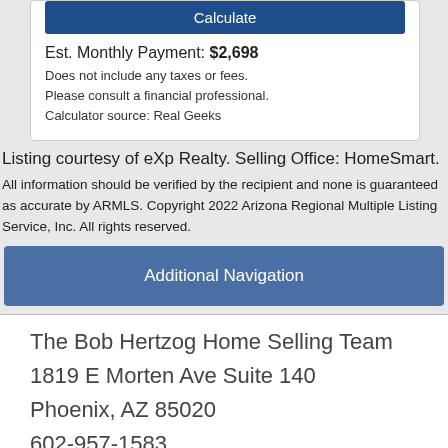Calculate
Est. Monthly Payment: $2,698
Does not include any taxes or fees.
Please consult a financial professional.
Calculator source: Real Geeks
Listing courtesy of eXp Realty. Selling Office: HomeSmart.
All information should be verified by the recipient and none is guaranteed as accurate by ARMLS. Copyright 2022 Arizona Regional Multiple Listing Service, Inc. All rights reserved.
Additional Navigation
The Bob Hertzog Home Selling Team
1819 E Morten Ave Suite 140
Phoenix, AZ 85020
602-957-1583